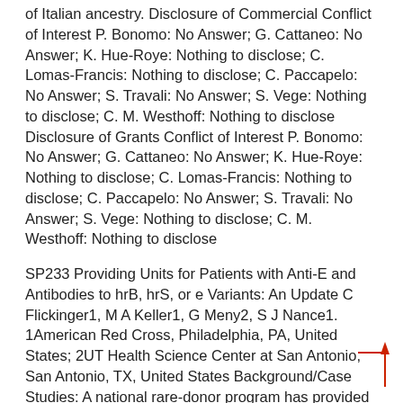of Italian ancestry. Disclosure of Commercial Conflict of Interest P. Bonomo: No Answer; G. Cattaneo: No Answer; K. Hue-Roye: Nothing to disclose; C. Lomas-Francis: Nothing to disclose; C. Paccapelo: No Answer; S. Travali: No Answer; S. Vege: Nothing to disclose; C. M. Westhoff: Nothing to disclose Disclosure of Grants Conflict of Interest P. Bonomo: No Answer; G. Cattaneo: No Answer; K. Hue-Roye: Nothing to disclose; C. Lomas-Francis: Nothing to disclose; C. Paccapelo: No Answer; S. Travali: No Answer; S. Vege: Nothing to disclose; C. M. Westhoff: Nothing to disclose
SP233 Providing Units for Patients with Anti-E and Antibodies to hrB, hrS, or e Variants: An Update C Flickinger1, M A Keller1, G Meny2, S J Nance1. 1American Red Cross, Philadelphia, PA, United States; 2UT Health Science Center at San Antonio, San Antonio, TX, United States Background/Case Studies: A national rare-donor program has provided rare units for patients since 1998. Rare donors are defined as those whose RBCs lack a high-incidence antigen or multiple common antigens. The program is challenged to provide units for patients with